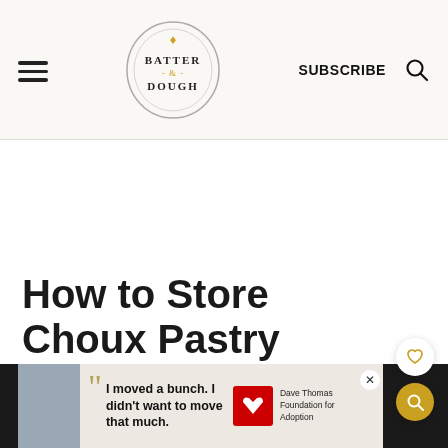Batter & Dough — SUBSCRIBE
How to Store Choux Pastry Dough and
[Figure (screenshot): Advertisement banner at bottom: teenager with quote 'I moved a bunch. I didn't want to move that much.' with Dave Thomas Foundation for Adoption logo]